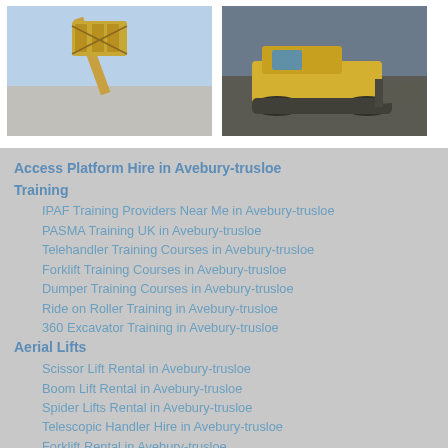[Figure (photo): Yellow access platform / elevated work basket aerial lift against a blue sky background]
[Figure (photo): Yellow compact track loader / bulldozer with bucket scoop on gravel surface]
Access Platform Hire in Avebury-trusloe
Training
IPAF Training Providers Near Me in Avebury-trusloe
PASMA Training UK in Avebury-trusloe
Telehandler Training Courses in Avebury-trusloe
Forklift Training Courses in Avebury-trusloe
Dumper Training Courses in Avebury-trusloe
Ride on Roller Training in Avebury-trusloe
360 Excavator Training in Avebury-trusloe
Aerial Lifts
Scissor Lift Rental in Avebury-trusloe
Boom Lift Rental in Avebury-trusloe
Spider Lifts Rental in Avebury-trusloe
Telescopic Handler Hire in Avebury-trusloe
Forklift Rental in Avebury-trusloe